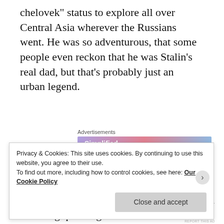chelovek” status to explore all over Central Asia wherever the Russians went. He was so adventurous, that some people even reckon that he was Stalin’s real dad, but that’s probably just an urban legend.
[Figure (other): WordPress.com advertisement banner: 'Simplified pricing for everything you need.' with WordPress.com logo on gradient background.]
REPORT THIS AD
These days some criticism is levelled at him for being quite high-handed towards the native peoples of the places he went to, which just goes
Privacy & Cookies: This site uses cookies. By continuing to use this website, you agree to their use.
To find out more, including how to control cookies, see here: Our Cookie Policy
Close and accept
REPORT THIS AD